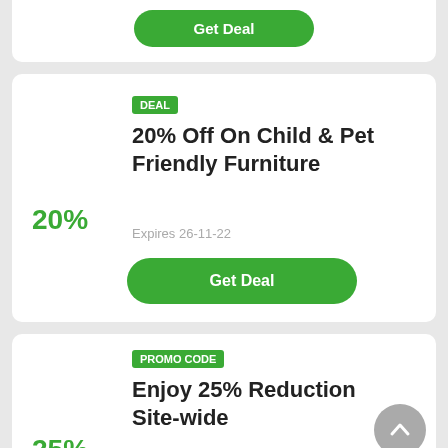[Figure (screenshot): Partial top card showing 'Get Deal' green button]
DEAL
20% Off On Child & Pet Friendly Furniture
20%
Expires 26-11-22
Get Deal
PROMO CODE
Enjoy 25% Reduction Site-wide
25%
Expired 25-8-22
BROSAVIP